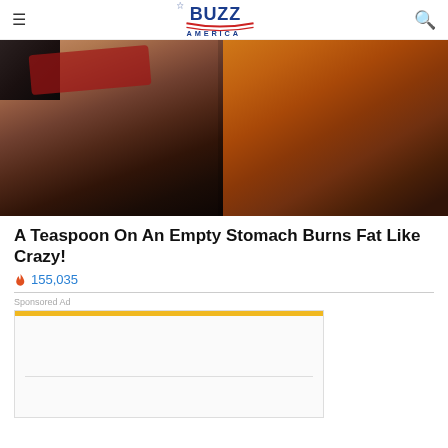Buzz America (logo)
[Figure (photo): Split hero image: left side shows a muscular person's torso with defined abs, right side shows a spoon filled with golden-brown spice or powder]
A Teaspoon On An Empty Stomach Burns Fat Like Crazy!
🔥 155,035
Sponsored Ad
[Figure (other): Advertisement placeholder box with gold top bar and internal dividing line]